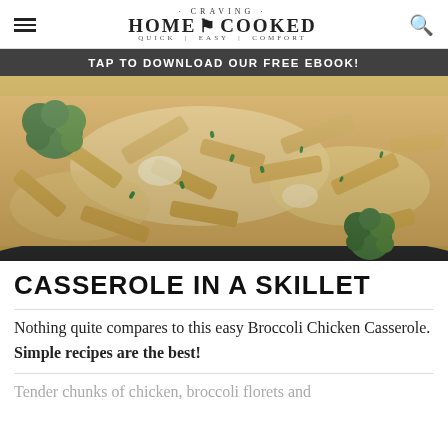CRAVING HOME COOKED · QUICK | EASY | COMFORT
TAP TO DOWNLOAD OUR FREE EBOOK!
[Figure (photo): Close-up photo of broccoli chicken casserole with penne pasta in a skillet, showing melted cheese, broccoli florets, and chopped green onions.]
CASSEROLE IN A SKILLET
Nothing quite compares to this easy Broccoli Chicken Casserole. Simple recipes are the best!
Tender chunks of chicken, broccoli florets and ...